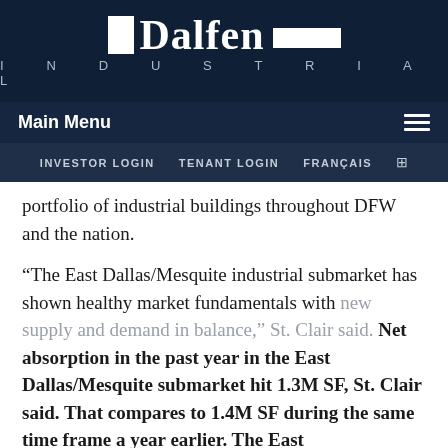[Figure (logo): Dalfen Industrial logo — white text on dark navy background with decorative bars]
Main Menu | INVESTOR LOGIN   TENANT LOGIN   FRANÇAIS
portfolio of industrial buildings throughout DFW and the nation.
“The East Dallas/Mesquite industrial submarket has shown healthy market fundamentals with new supply and demand in balance,” St. Clair said. Net absorption in the past year in the East Dallas/Mesquite submarket hit 1.3M SF, St. Clair said. That compares to 1.4M SF during the same time frame a year earlier. The East Dallas/Mesquite market has 1.2M SF under